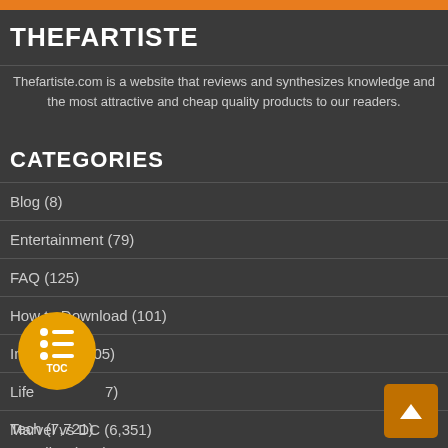THEFARTISTE
Thefartiste.com is a website that reviews and synthesizes knowledge and the most attractive and cheap quality products to our readers.
CATEGORIES
Blog (8)
Entertainment (79)
FAQ (125)
How to Download (101)
Insurance (105)
Life (7)
Marvel vs DC (6,351)
Tech (7,721)
Trending (146)